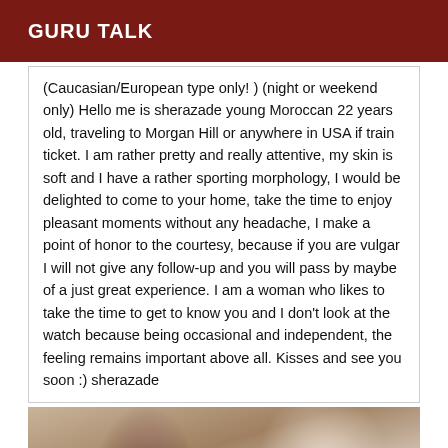GURU TALK
(Caucasian/European type only! ) (night or weekend only) Hello me is sherazade young Moroccan 22 years old, traveling to Morgan Hill or anywhere in USA if train ticket. I am rather pretty and really attentive, my skin is soft and I have a rather sporting morphology, I would be delighted to come to your home, take the time to enjoy pleasant moments without any headache, I make a point of honor to the courtesy, because if you are vulgar I will not give any follow-up and you will pass by maybe of a just great experience. I am a woman who likes to take the time to get to know you and I don't look at the watch because being occasional and independent, the feeling remains important above all. Kisses and see you soon :) sherazade
[Figure (photo): A partial photo of a person with dark hair, appears to be taken outdoors with a building visible in the background.]